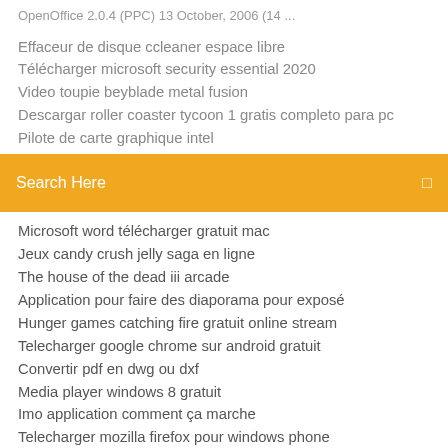OpenOffice 2.0.4 (PPC) 13 October, 2006 (14 ...
Effaceur de disque ccleaner espace libre
Télécharger microsoft security essential 2020
Video toupie beyblade metal fusion
Descargar roller coaster tycoon 1 gratis completo para pc
Pilote de carte graphique intel
[Figure (screenshot): Orange search bar with text 'Search Here' and a search icon on the right]
Microsoft word télécharger gratuit mac
Jeux candy crush jelly saga en ligne
The house of the dead iii arcade
Application pour faire des diaporama pour exposé
Hunger games catching fire gratuit online stream
Telecharger google chrome sur android gratuit
Convertir pdf en dwg ou dxf
Media player windows 8 gratuit
Imo application comment ça marche
Telecharger mozilla firefox pour windows phone